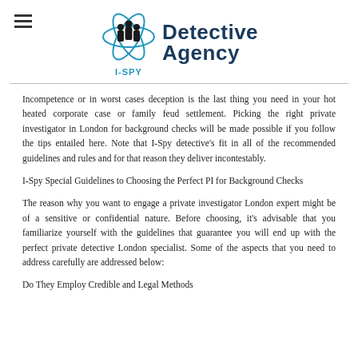[Figure (logo): I-SPY Detective Agency logo with atom/orbital graphic and silhouettes of three people]
Incompetence or in worst cases deception is the last thing you need in your hot heated corporate case or family feud settlement. Picking the right private investigator in London for background checks will be made possible if you follow the tips entailed here. Note that I-Spy detective's fit in all of the recommended guidelines and rules and for that reason they deliver incontestably.
I-Spy Special Guidelines to Choosing the Perfect PI for Background Checks
The reason why you want to engage a private investigator London expert might be of a sensitive or confidential nature. Before choosing, it's advisable that you familiarize yourself with the guidelines that guarantee you will end up with the perfect private detective London specialist. Some of the aspects that you need to address carefully are addressed below:
Do They Employ Credible and Legal Methods